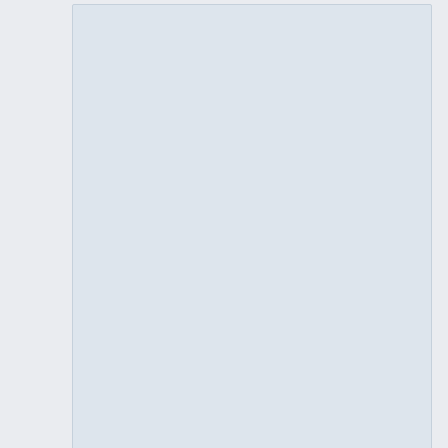[Figure (other): Light blue-gray placeholder rectangle representing an image or figure area, occupying the top portion of the page.]
Sci. Rep. 6, 29130.
Determination of GLUT1 oligomerization parameters using bioluminescent Förster resonance energy transfer.
2016
Looyenga, B., VanOpstall, C., Lee. Z., Bell, J., Lodge, B., Wrobel, K., Arnoys, E. and Louters, L.
Expand Full